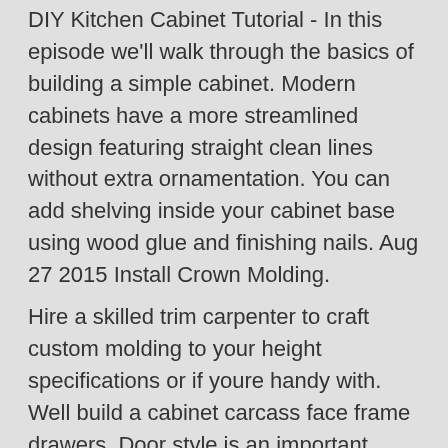DIY Kitchen Cabinet Tutorial - In this episode we'll walk through the basics of building a simple cabinet. Modern cabinets have a more streamlined design featuring straight clean lines without extra ornamentation. You can add shelving inside your cabinet base using wood glue and finishing nails. Aug 27 2015 Install Crown Molding.
Hire a skilled trim carpenter to craft custom molding to your height specifications or if youre handy with. Well build a cabinet carcass face frame drawers. Door style is an important component of kitchen cabinet design as it commonly defines the style of a kitchen.
You will then begin to assemble the cabinet base all sides but the front with heavy wood glue andor screws. Plywood cut the case bottom 33. Sep 07 2016 Subtract that number from the case width.